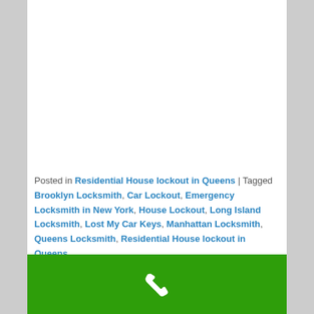Posted in Residential House lockout in Queens | Tagged Brooklyn Locksmith, Car Lockout, Emergency Locksmith in New York, House Lockout, Long Island Locksmith, Lost My Car Keys, Manhattan Locksmith, Queens Locksmith, Residential House lockout in Queens
Residential House lockout in Brooklyn